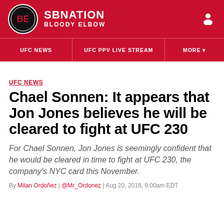SB NATION | BLOODY ELBOW
UFC NEWS | UFC PPV LIVE STREAM | MORE
UFC NEWS
Chael Sonnen: It appears that Jon Jones believes he will be cleared to fight at UFC 230
For Chael Sonnen, Jon Jones is seemingly confident that he would be cleared in time to fight at UFC 230, the company's NYC card this November.
By Milan Ordoñez | @Mr_Ordonez | Aug 20, 2018, 9:00am EDT